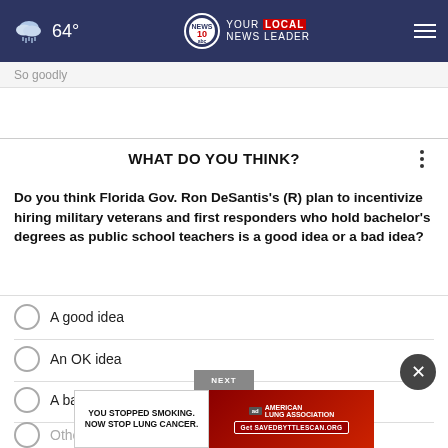[Figure (screenshot): Navigation bar with weather icon showing cloud/rain, temperature 64°, NEWS 10 ABC logo with 'YOUR LOCAL NEWS LEADER' tagline, and hamburger menu icon]
So goodly
WHAT DO YOU THINK?
Do you think Florida Gov. Ron DeSantis's (R) plan to incentivize hiring military veterans and first responders who hold bachelor's degrees as public school teachers is a good idea or a bad idea?
A good idea
An OK idea
A bad idea
Other / No opinion
[Figure (screenshot): Advertisement banner: 'YOU STOPPED SMOKING. NOW STOP LUNG CANCER.' with American Lung Association branding and 'Get SAVEDBYITLESCAN.ORG' CTA]